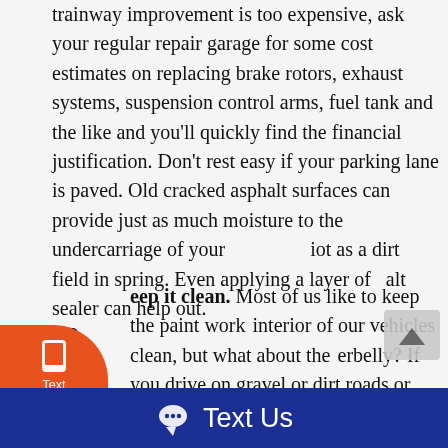trainway improvement is too expensive, ask your regular repair garage for some cost estimates on replacing brake rotors, exhaust systems, suspension control arms, fuel tank and the like and you'll quickly find the financial justification. Don't rest easy if your parking lane is paved. Old cracked asphalt surfaces can provide just as much moisture to the undercarriage of your vehicle as a dirt field in spring. Even applying a layer of asphalt sealer can help out.
Keep it clean. Most of us like to keep the paint work and interior of our vehicles clean, but what about the underbelly? If you drive on gravel or dirt roads or take an off-road adventure from time to time, the mud and gunk that can collect underneath your vehicle will act as a moisture trap increasing the speed with which your wheels will head to the scrap yard. Check horizontal surfaces under the car/truck such as control arms, skid-
[Figure (other): Orange rounded sidebar widget with phone/text icons and 'Text Us' label, and a blue 'Text Us' bar at the bottom of the page]